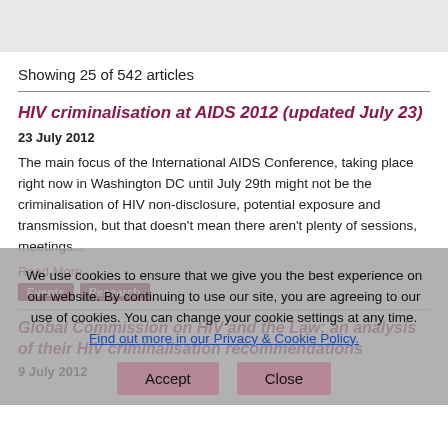Showing 25 of 542 articles
HIV criminalisation at AIDS 2012 (updated July 23)
23 July 2012
The main focus of the International AIDS Conference, taking place right now in Washington DC until July 29th might not be the criminalisation of HIV non-disclosure, potential exposure and transmission, but that doesn't mean there aren't plenty of sessions, meetings...
Read More
Events
Research
Global Commission on HIV and the Law: an analysis of their HIV criminalisation recommendations
9 July 2012
We use cookies to ensure that we give you the best experience on our website. By continuing to use our site, you are agreeing to our use of cookies. You can change your cookie settings at any time. Find out more in our Privacy & Cookie Policy.